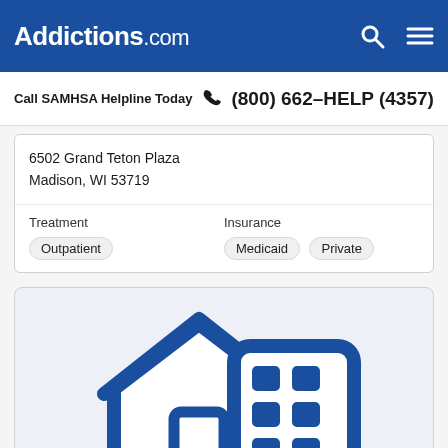Addictions.com
Call SAMHSA Helpline Today  (800) 662-HELP (4357)
6502 Grand Teton Plaza
Madison, WI 53719
Treatment
Outpatient
Insurance
Medicaid  Private
[Figure (illustration): Blue icon illustration of a house and multi-story building side by side, representing residential and outpatient treatment facilities]